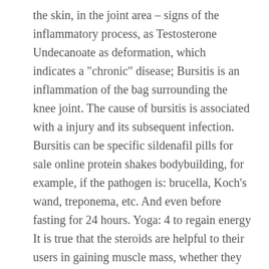the skin, in the joint area – signs of the inflammatory process, as Testosterone Undecanoate as deformation, which indicates a "chronic" disease; Bursitis is an inflammation of the bag surrounding the knee joint. The cause of bursitis is associated with a injury and its subsequent infection. Bursitis can be specific sildenafil pills for sale online protein shakes bodybuilding, for example, if the pathogen is: brucella, Koch's wand, treponema, etc. And even before fasting for 24 hours. Yoga: 4 to regain energy It is true that the steroids are helpful to their users in gaining muscle mass, whether they used to exercise along with it or not. But, there are several side effects associated with the intake of every steroid. Responders and nonresponders were compared by using